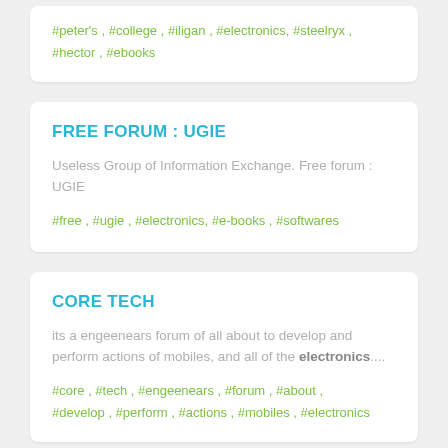#peter's , #college , #iligan , #electronics, #steelryx , #hector , #ebooks
FREE FORUM : UGIE
Useless Group of Information Exchange. Free forum : UGIE
#free , #ugie , #electronics, #e-books , #softwares
CORE TECH
its a engeenears forum of all about to develop and perform actions of mobiles, and all of the electronics....
#core , #tech , #engeenears , #forum , #about , #develop , #perform , #actions , #mobiles , #electronics